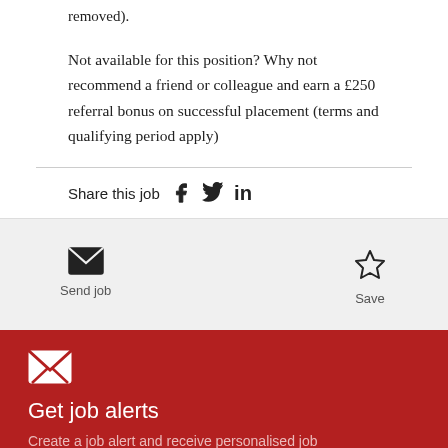removed).
Not available for this position? Why not recommend a friend or colleague and earn a £250 referral bonus on successful placement (terms and qualifying period apply)
Share this job
Send job
Save
Get job alerts
Create a job alert and receive personalised job